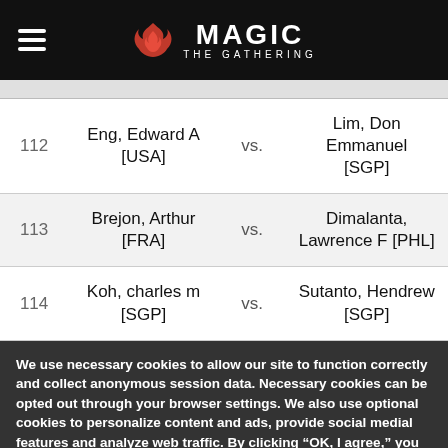[Figure (logo): Magic: The Gathering logo with red flame icon on black navigation bar]
| # | Player 1 | vs. | Player 2 |
| --- | --- | --- | --- |
| 112 | Eng, Edward A [USA] | vs. | Lim, Don Emmanuel [SGP] |
| 113 | Brejon, Arthur [FRA] | vs. | Dimalanta, Lawrence F [PHL] |
| 114 | Koh, charles m [SGP] | vs. | Sutanto, Hendrew [SGP] |
We use necessary cookies to allow our site to function correctly and collect anonymous session data. Necessary cookies can be opted out through your browser settings. We also use optional cookies to personalize content and ads, provide social medial features and analyze web traffic. By clicking “OK, I agree,” you consent to optional cookies. (Learn more about cookies.)